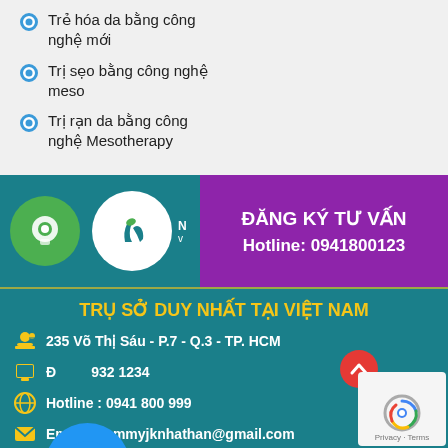Trẻ hóa da bằng công nghệ mới
Trị sẹo bằng công nghệ meso
Trị rạn da bằng công nghệ Mesotherapy
[Figure (logo): Green chat bubble icon, JK leaf logo, purple registration box with ĐĂNG KÝ TƯ VẤN and Hotline: 0941800123]
TRỤ SỞ DUY NHẤT TẠI VIỆT NAM
235 Võ Thị Sáu - P.7 - Q.3 - TP. HCM
Đ... 932 1234
Hotline : 0941 800 999
Email: thammyjknhathan@gmail.com